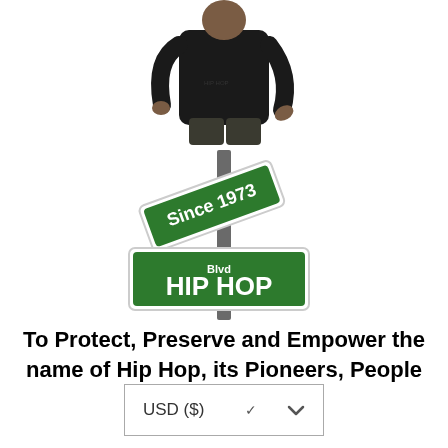[Figure (photo): Person wearing black hoodie and dark cargo pants, pointing downward with one hand, upper body and torso visible against white background]
[Figure (illustration): Street sign intersection pole with two green signs: upper sign reads 'Since 1973' at an angle, lower larger sign reads 'HIP HOP Blvd' horizontally]
To Protect, Preserve and Empower the name of Hip Hop, its Pioneers, People and Culture.
USD ($)